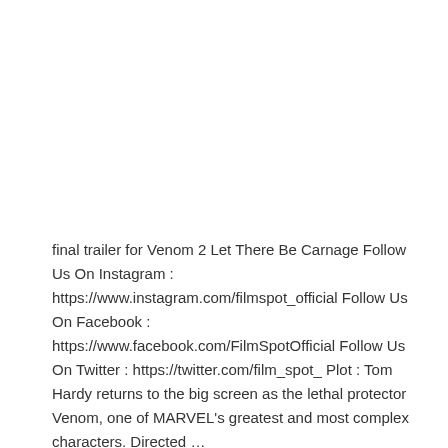final trailer for Venom 2 Let There Be Carnage Follow Us On Instagram : https://www.instagram.com/filmspot_official Follow Us On Facebook : https://www.facebook.com/FilmSpotOfficial Follow Us On Twitter : https://twitter.com/film_spot_ Plot : Tom Hardy returns to the big screen as the lethal protector Venom, one of MARVEL's greatest and most complex characters. Directed …
Read More »
[Figure (other): Social media share buttons: Facebook (blue), Twitter (light blue), LinkedIn (light blue), Pinterest (red)]